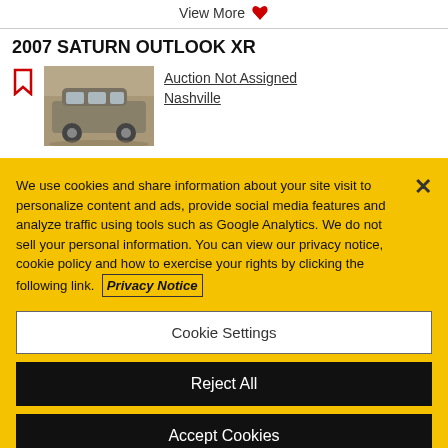View More
2007 SATURN OUTLOOK XR
Auction Not Assigned
Nashville
[Figure (screenshot): Cookie consent banner on yellow background with text about cookies, Privacy Notice link, Cookie Settings button, Reject All button, and Accept Cookies button]
We use cookies and share information about your site visit to personalize content and ads, provide social media features and analyze traffic using tools such as Google Analytics. We do not sell your personal information. You can view our privacy notice, cookie policy and how to exercise your rights by clicking the following link. Privacy Notice
Cookie Settings
Reject All
Accept Cookies